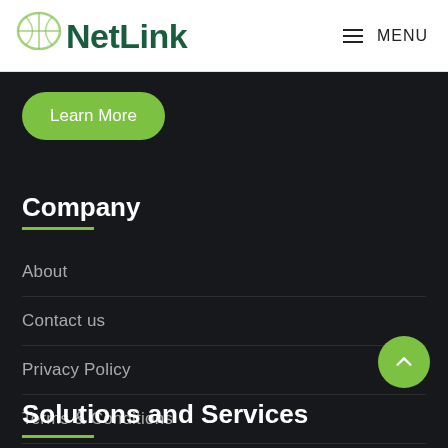NetLink | MENU
Learn More
Company
About
Contact us
Privacy Policy
Terms & Conditions
Solutions and Services